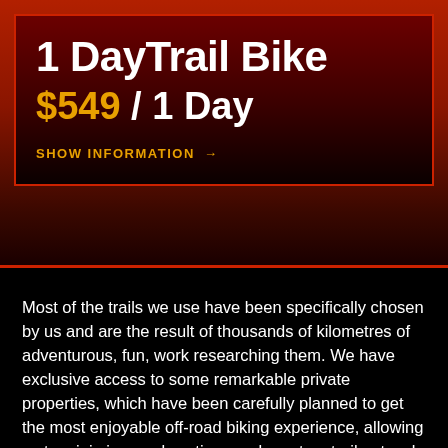1 DayTrail Bike
$549 / 1 Day
SHOW INFORMATION →
Most of the trails we use have been specifically chosen by us and are the result of thousands of kilometres of adventurous, fun, work researching them. We have exclusive access to some remarkable private properties, which have been carefully planned to get the most enjoyable off-road biking experience, allowing us to minimise road sections and create a trail network to impress.